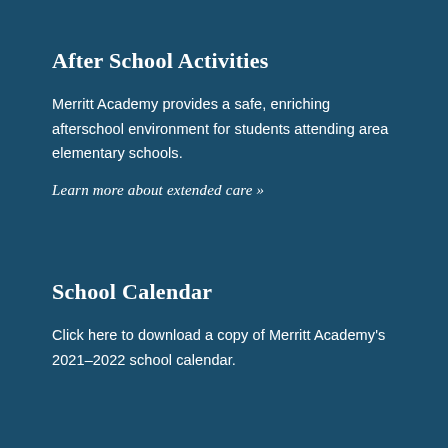After School Activities
Merritt Academy provides a safe, enriching afterschool environment for students attending area elementary schools.
Learn more about extended care »
School Calendar
Click here to download a copy of Merritt Academy's 2021–2022 school calendar.